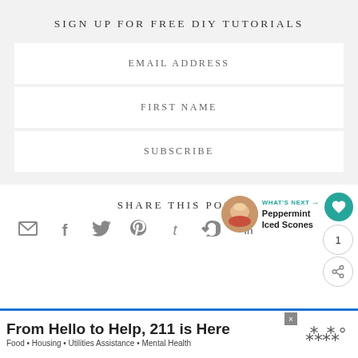SIGN UP FOR FREE DIY TUTORIALS
EMAIL ADDRESS
FIRST NAME
SUBSCRIBE
SHARE THIS POST
[Figure (infographic): Social share icons: email, facebook, twitter, pinterest, tumblr, stumbleupon, linkedin]
[Figure (infographic): WHAT'S NEXT arrow label with circular food image and text: Peppermint Iced Scones]
[Figure (infographic): Heart/like button (teal), count button showing 1, and share button]
From Hello to Help, 211 is Here
Food • Housing • Utilities Assistance • Mental Health